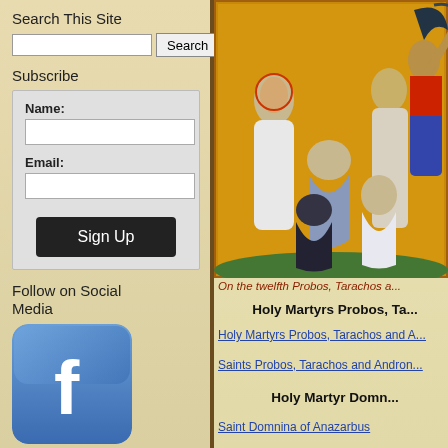Search This Site
Subscribe
Follow on Social Media
[Figure (illustration): Medieval illuminated manuscript illustration depicting martyrdom scene with figures in Byzantine style on gold background]
On the twelfth Probos, Tarachos a...
Holy Martyrs Probos, Ta...
Holy Martyrs Probos, Tarachos and A...
Saints Probos, Tarachos and Andron...
Holy Martyr Domn...
Saint Domnina of Anazarbus